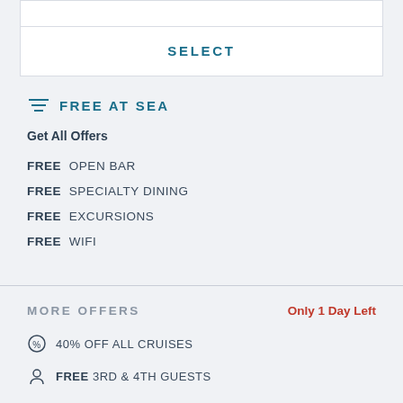SELECT
FREE AT SEA
Get All Offers
FREE OPEN BAR
FREE SPECIALTY DINING
FREE EXCURSIONS
FREE WIFI
MORE OFFERS
Only 1 Day Left
40% OFF ALL CRUISES
FREE 3RD & 4TH GUESTS